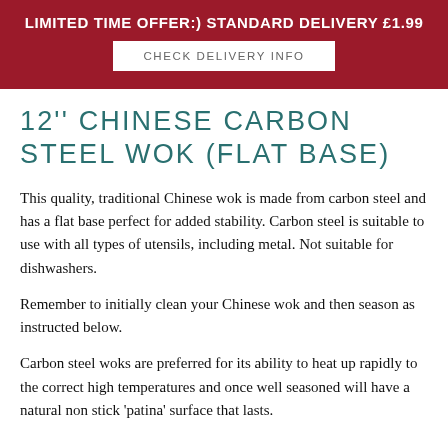LIMITED TIME OFFER:) STANDARD DELIVERY £1.99
CHECK DELIVERY INFO
12'' CHINESE CARBON STEEL WOK (FLAT BASE)
This quality, traditional Chinese wok is made from carbon steel and has a flat base perfect for added stability. Carbon steel is suitable to use with all types of utensils, including metal. Not suitable for dishwashers.
Remember to initially clean your Chinese wok and then season as instructed below.
Carbon steel woks are preferred for its ability to heat up rapidly to the correct high temperatures and once well seasoned will have a natural non stick 'patina' surface that lasts.